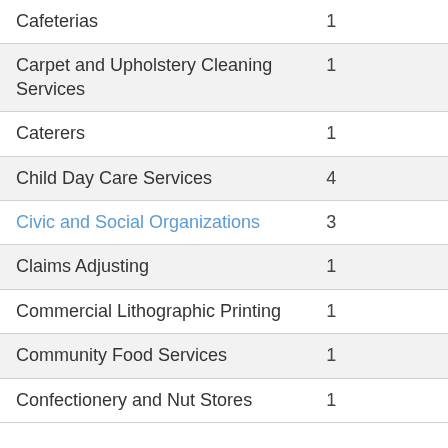| Category | Count |
| --- | --- |
| Cafeterias | 1 |
| Carpet and Upholstery Cleaning Services | 1 |
| Caterers | 1 |
| Child Day Care Services | 4 |
| Civic and Social Organizations | 3 |
| Claims Adjusting | 1 |
| Commercial Lithographic Printing | 1 |
| Community Food Services | 1 |
| Confectionery and Nut Stores | 1 |